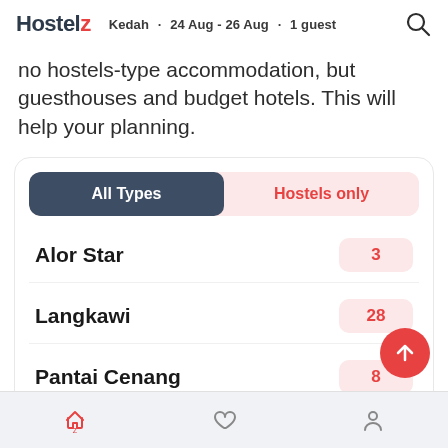Hostelz · Kedah · 24 Aug - 26 Aug · 1 guest
no hostels-type accommodation, but guesthouses and budget hotels. This will help your planning.
| Location | Count |
| --- | --- |
| Alor Star | 3 |
| Langkawi | 28 |
| Pantai Cenang | 8 |
Bottom navigation bar with home, favorites, and profile icons